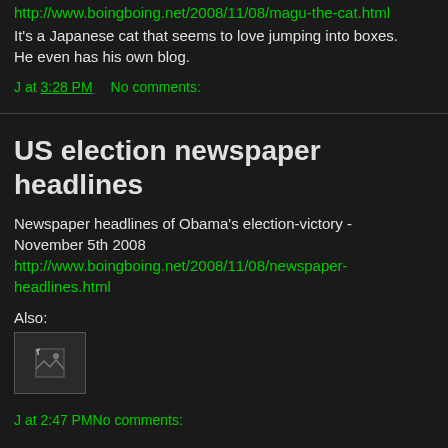http://www.boingboing.net/2008/11/08/magu-the-cat.html
It's a Japanese cat that seems to love jumping into boxes. He even has his own blog.
J at 3:28 PM   No comments:
US election newspaper headlines
Newspaper headlines of Obama's election-victory - November 5th 2008
http://www.boingboing.net/2008/11/08/newspaper-headlines.html
Also:
[Figure (photo): Broken image placeholder thumbnail]
J at 2:47 PM   No comments: